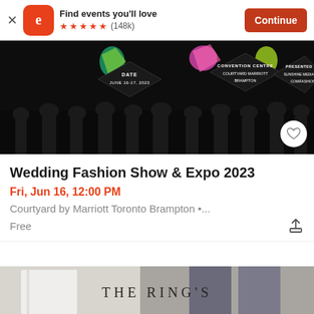[Figure (screenshot): App store banner with Eventbrite logo, 'Find events you'll love' text, 5 star rating (148k), and Continue button]
[Figure (photo): Wedding Fashion Show & Expo 2023 event banner image showing fashion show silhouettes with diamond shapes displaying date June 16-17 2023, Convention Centre Courtyard Marriott Brampton, Presented by Sunshine Media and Comifashion]
Wedding Fashion Show & Expo 2023
Fri, Jun 16, 12:00 PM
Courtyard by Marriott Toronto Brampton •...
Free
[Figure (photo): Bottom partial image showing 'THE RING'S' text over a photo of people, partial view of second event listing]